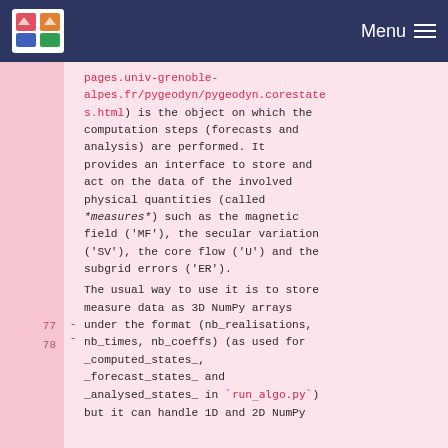Menu
pages.univ-grenoble-alpes.fr/pygeodyn/pygeodyn.corestates.html) is the object on which the computation steps (forecasts and analysis) are performed. It provides an interface to store and act on the data of the involved physical quantities (called *measures*) such as the magnetic field ('MF'), the secular variation ('SV'), the core flow ('U') and the subgrid errors ('ER').
The usual way to use it is to store measure data as 3D NumPy arrays under the format (nb_realisations, nb_times, nb_coeffs) (as used for _computed_states_, _forecast_states_ and _analysed_states_ in `run_algo.py`) but it can handle 1D and 2D NumPy...